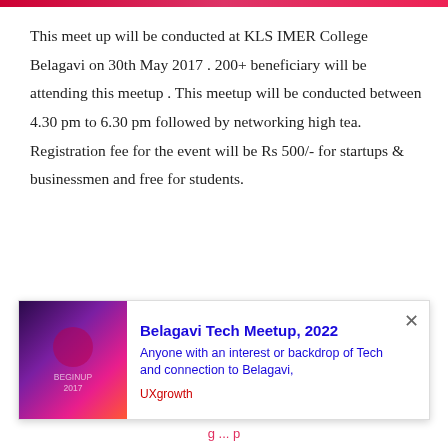This meet up will be conducted at KLS IMER College Belagavi on 30th May 2017 . 200+ beneficiary will be attending this meetup . This meetup will be conducted between 4.30 pm to 6.30 pm followed by networking high tea. Registration fee for the event will be Rs 500/- for startups & businessmen and free for students.
Beginup conducts startup meet across country and this conference on “Brick & Mortar to E-commerce” will bring
[Figure (screenshot): Popup notification card for Belagavi Tech Meetup, 2022 with purple/pink gradient image on left, bold blue title, blue description text, red UXgrowth source label, and close button]
g ... p